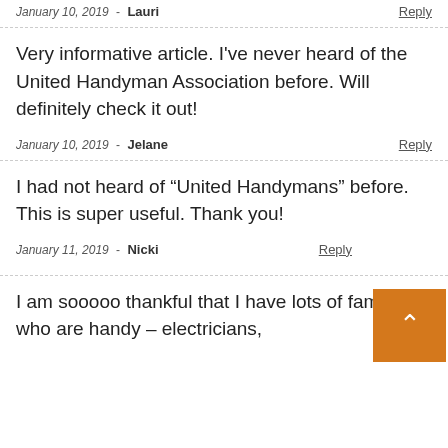January 10, 2019 - Lauri    Reply
Very informative article. I've never heard of the United Handyman Association before. Will definitely check it out!
January 10, 2019 - Jelane    Reply
I had not heard of “United Handymans” before. This is super useful. Thank you!
January 11, 2019 - Nicki    Reply
I am sooooo thankful that I have lots of family who are handy – electricians,